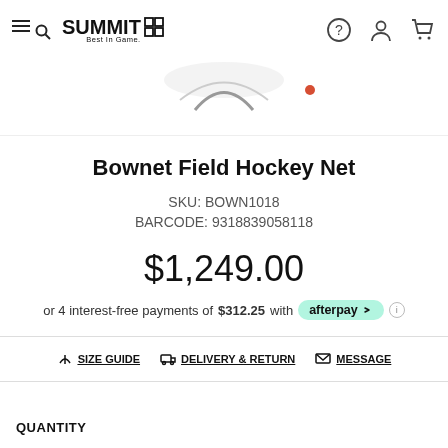Summit Best In Game — navigation header with logo, search, help, account, and cart icons
[Figure (photo): Partial view of a field hockey net product image (top portion visible)]
Bownet Field Hockey Net
SKU: BOWN1018
BARCODE: 9318839058118
$1,249.00
or 4 interest-free payments of $312.25 with afterpay
SIZE GUIDE   DELIVERY & RETURN   MESSAGE
QUANTITY